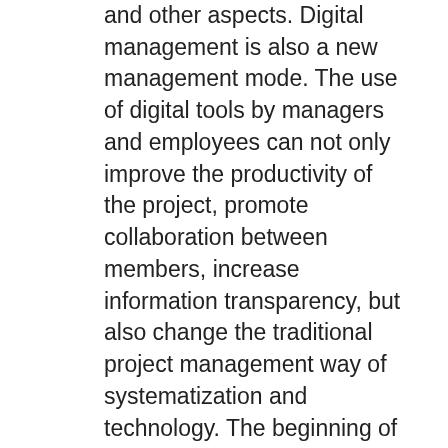and other aspects. Digital management is also a new management mode. The use of digital tools by managers and employees can not only improve the productivity of the project, promote collaboration between members, increase information transparency, but also change the traditional project management way of systematization and technology. The beginning of digital transformation in the industry is also creating more effective and efficient development results. This research intends to demonstrate the necessity and sustainability of digital transformation in construction projects to provide a safer working environment, better building quality and higher productivity in the construction industry. First of all, understand the current implementation process of digital transformation, analyze the four critical points of digital transformation in the construction industry (strength, weakness, opportunity and threat) to define its possible